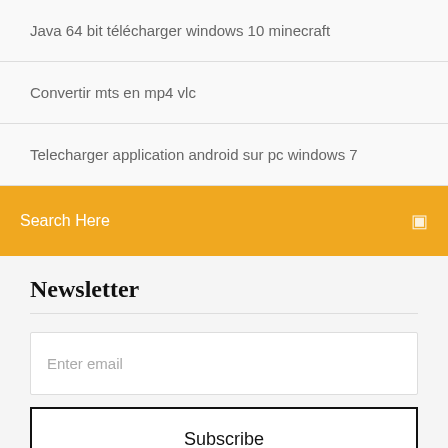Java 64 bit télécharger windows 10 minecraft
Convertir mts en mp4 vlc
Telecharger application android sur pc windows 7
Search Here
Newsletter
Enter email
Subscribe